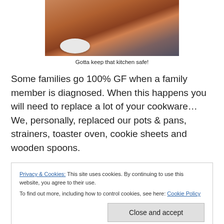[Figure (photo): Photo of glass bowls and kitchen items on a dark countertop, partially cropped at top]
Gotta keep that kitchen safe!
Some families go 100% GF when a family member is diagnosed. When this happens you will need to replace a lot of your cookware… We, personally, replaced our pots & pans, strainers, toaster oven, cookie sheets and wooden spoons.
Privacy & Cookies: This site uses cookies. By continuing to use this website, you agree to their use.
To find out more, including how to control cookies, see here: Cookie Policy
Close and accept
pizza trays, frying pans, cooking pots, toasters, otc, and